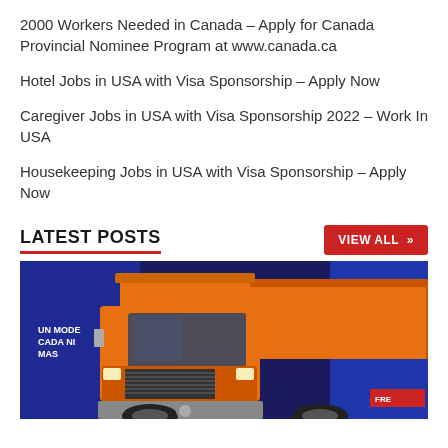2000 Workers Needed in Canada – Apply for Canada Provincial Nominee Program at www.canada.ca
Hotel Jobs in USA with Visa Sponsorship – Apply Now
Caregiver Jobs in USA with Visa Sponsorship 2022 – Work In USA
Housekeeping Jobs in USA with Visa Sponsorship – Apply Now
LATEST POSTS
[Figure (photo): Orange dump truck (Freightliner) on display at what appears to be a motor show or exhibition, with blue background banners in Spanish reading 'UN MODELO CADA NI MAS' and 'MOTOR Y NUESTRO PARA LOS DE SU']